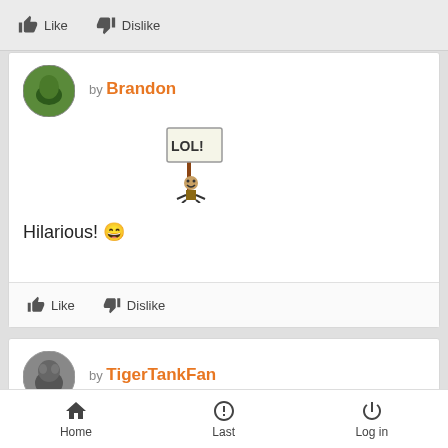Like   Dislike
[Figure (screenshot): Comment by Brandon with avatar image, text 'Hilarious!' with emoji and LOL sign graphic]
Like   Dislike
[Figure (screenshot): Comment by TigerTankFan with avatar image]
I will add more videos to this thread when I can, as I've been kept busy with some of the many obligations of life as of late.
Like   Dislike
Home   Last   Log in